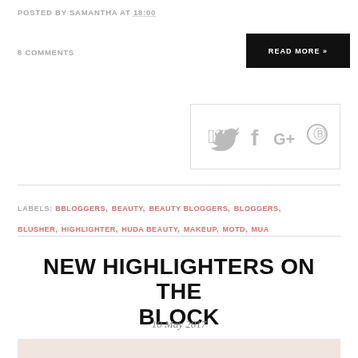POSTED BY SAMANTHA AT 18:00
8 COMMENTS
READ MORE »
[Figure (infographic): Social sharing icons: Twitter, Facebook, Google+, Pinterest in a bordered box]
LABELS: BBLOGGERS, BEAUTY, BEAUTY BLOGGERS, BLOGGERS, BLUSHER, HIGHLIGHTER, HUDA BEAUTY, MAKEUP, MOTD, MUA
NEW HIGHLIGHTERS ON THE BLOCK
10 May 2017
[Figure (photo): Flat-lay photo of a pink highlighter palette and a makeup brush on a marble background]